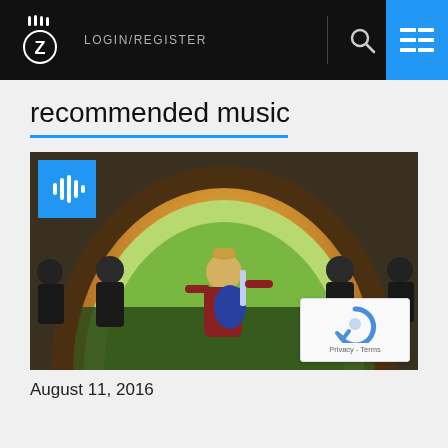LOGIN/REGISTER
recommended music
[Figure (photo): Music website screenshot showing a colorful music video still with animated band figures performing, with a blue audio waveform badge overlay and a reCAPTCHA widget in the bottom-right corner.]
August 11, 2016